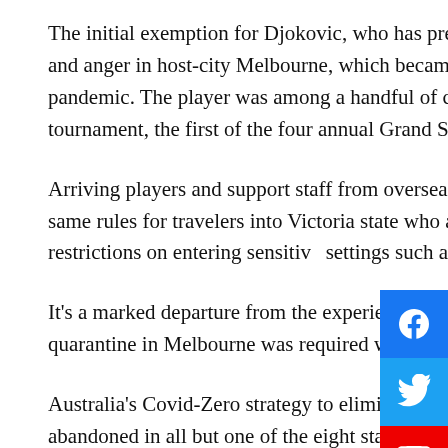The initial exemption for Djokovic, who has previously criticized vaccine mandates, sparked criticism and anger in host-city Melbourne, which became the world's most locked down city during the pandemic. The player was among a handful of competitors granted medical exemptions for the tournament, the first of the four annual Grand Slam events, which begins Jan. 17.
Arriving players and support staff from overseas who have a valid medical exemption can follow the same rules for travelers into Victoria state who are fully vaccinated, though face some greater restrictions on entering sensitive settings such as schools.
It's a marked departure from the experience of the world's tennis elite in 2021, where 14-day hotel quarantine in Melbourne was required with strict rules around daily testing and close contacts.
Australia's Covid-Zero strategy to eliminate coronavirus infections in the community has now been abandoned in all but one of the eight states and territories, with the nation recording more than 64,000 new cases on